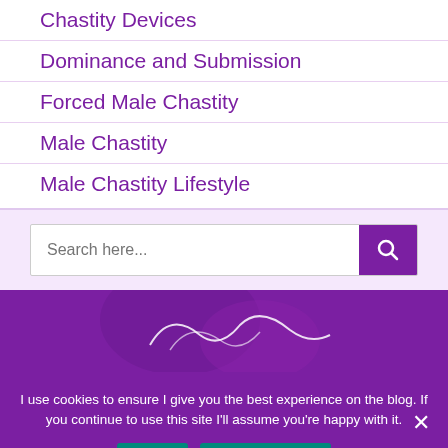Chastity Devices
Dominance and Submission
Forced Male Chastity
Male Chastity
Male Chastity Lifestyle
Search here...
[Figure (photo): Purple banner with partial cursive logo/signature visible]
I use cookies to ensure I give you the best experience on the blog. If you continue to use this site I'll assume you're happy with it.
Ok | Privacy policy